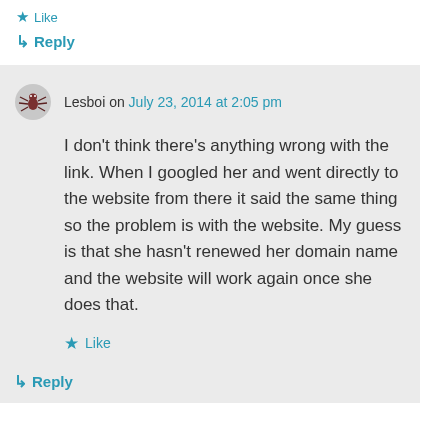★ Like
↳ Reply
Lesboi on July 23, 2014 at 2:05 pm
I don't think there's anything wrong with the link. When I googled her and went directly to the website from there it said the same thing so the problem is with the website. My guess is that she hasn't renewed her domain name and the website will work again once she does that.
★ Like
↳ Reply